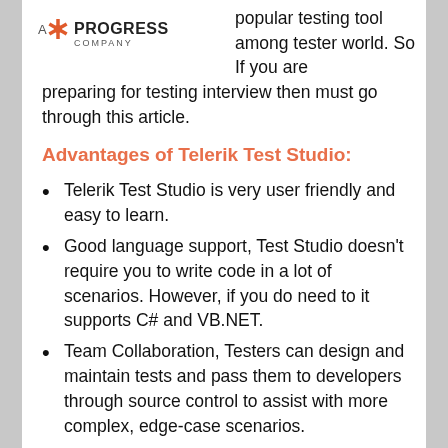[Figure (logo): A Progress Company logo with red star/asterisk icon]
popular testing tool among tester world. So If you are preparing for testing interview then must go through this article.
Advantages of Telerik Test Studio:
Telerik Test Studio is very user friendly and easy to learn.
Good language support, Test Studio doesn't require you to write code in a lot of scenarios. However, if you do need to it supports C# and VB.NET.
Team Collaboration, Testers can design and maintain tests and pass them to developers through source control to assist with more complex, edge-case scenarios.